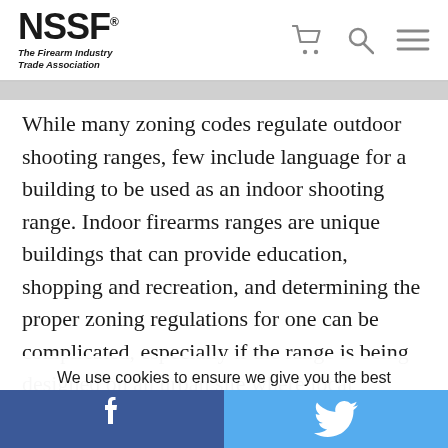NSSF® The Firearm Industry Trade Association
While many zoning codes regulate outdoor shooting ranges, few include language for a building to be used as an indoor shooting range. Indoor firearms ranges are unique buildings that can provide education, shopping and recreation, and determining the proper zoning regulations for one can be complicated, especially if the range is being designed on an urban site where local
We use cookies to ensure we give you the best experience on our website. By clicking "Accept" or using our website, you consent to the use of cookies unless you have disabled them.
Facebook | Twitter social share bar